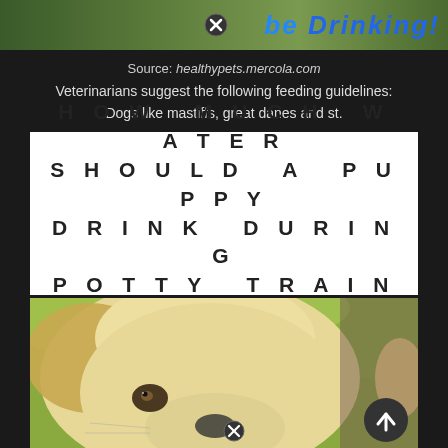[Figure (photo): Top banner showing green outdoor/nature background with blue bold italic text 'be drinking!' and a close/X button overlay]
Source: healthypets.mercola.com
Veterinarians suggest the following feeding guidelines: Dogs like mastiffs, great danes and st.
HOW MUCH WATER SHOULD A PUPPY DRINK DURING POTTY TRAINING?
[Figure (photo): Close-up photo of a yellow/golden Labrador puppy face looking downward, with blurred green background. A close/X button and scroll-to-top button are overlaid.]